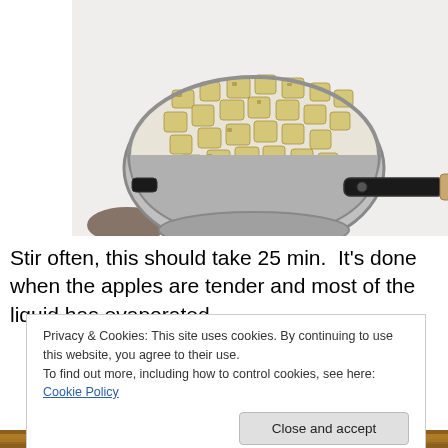[Figure (photo): A stainless steel pan filled with diced apple pieces cooking on a white electric stovetop, with a wooden spatula resting on the right side of the pan.]
Stir often, this should take 25 min.  It's done when the apples are tender and most of the liquid has evaporated.
Privacy & Cookies: This site uses cookies. By continuing to use this website, you agree to their use.
To find out more, including how to control cookies, see here: Cookie Policy
[Figure (photo): Bottom portion of another cooking photo visible at the very bottom of the page.]